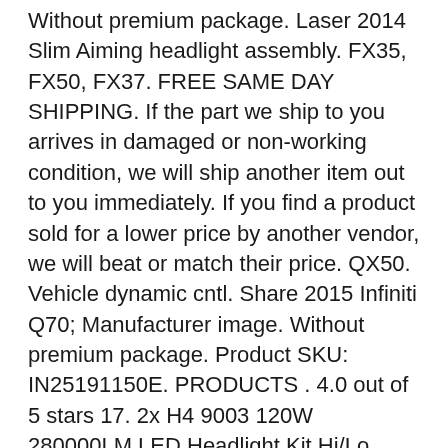Without premium package. Laser 2014 Slim Aiming headlight assembly. FX35, FX50, FX37. FREE SAME DAY SHIPPING. If the part we ship to you arrives in damaged or non-working condition, we will ship another item out to you immediately. If you find a product sold for a lower price by another vendor, we will beat or match their price. QX50. Vehicle dynamic cntl. Share 2015 Infiniti Q70; Manufacturer image. Without premium package. Product SKU: IN25191150E. PRODUCTS . 4.0 out of 5 stars 17. 2x H4 9003 120W 280000LM LED Headlight Kit Hi/Lo Beam Light Bulbs 8000K Ice Blue (Fits: 2008 Infiniti EX35) $11.68. Start/Stop Switch. Vehicle dynamic ctrl, convertible. Q45. L ... JX35, QX60. Direct Fit Right Side Headlight Bracket for Infiniti EX35, EX37, QX50 IN2509102 Sale Price: $39.44. In Stock . Coupe, outer. Replacing the bulb will restore functionality to both. Sedan, 2010-15. Infiniti EX35 2009, G3 LED Headlight Conversion Kit by PIAA®, 6200K, 12/24V, 23W. Club Armada is the premier Nissan Armada forum! Ex. 3.5l .